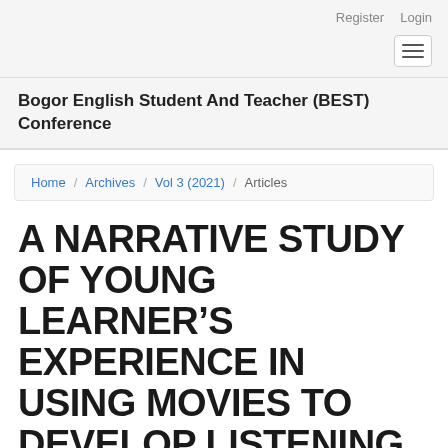Register  Login
Bogor English Student And Teacher (BEST) Conference
Home / Archives / Vol 3 (2021) / Articles
A NARRATIVE STUDY OF YOUNG LEARNER'S EXPERIENCE IN USING MOVIES TO DEVELOP LISTENING...